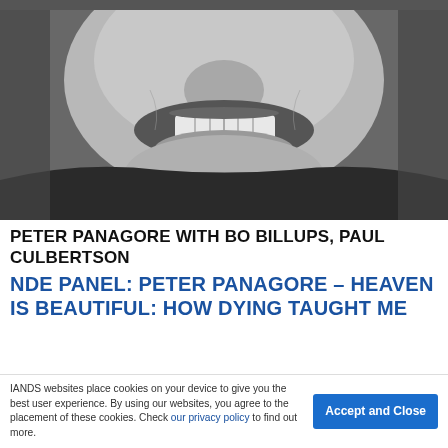[Figure (photo): Black and white close-up photograph of a smiling man's face, showing teeth, with a dark jacket collar visible at bottom.]
PETER PANAGORE WITH BO BILLUPS, PAUL CULBERTSON
NDE PANEL: PETER PANAGORE – HEAVEN IS BEAUTIFUL: HOW DYING TAUGHT ME
IANDS websites place cookies on your device to give you the best user experience. By using our websites, you agree to the placement of these cookies. Check our privacy policy to find out more.